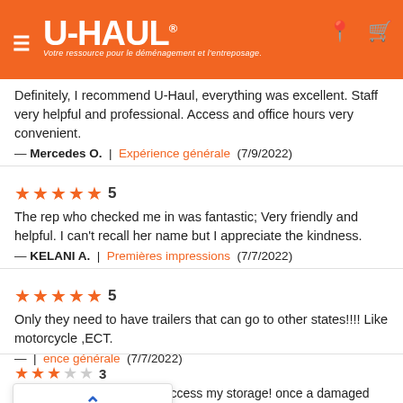U-HAUL — Votre ressource pour le déménagement et l'entreposage.
Definitely, I recommend U-Haul, everything was excellent. Staff very helpful and professional. Access and office hours very convenient.
— Mercedes O.  |  Expérience générale  (7/9/2022)
★★★★★ 5
The rep who checked me in was fantastic; Very friendly and helpful. I can't recall her name but I appreciate the kindness.
— KELANI A.  |  Premières impressions  (7/7/2022)
★★★★★ 5
Only they need to have trailers that can go to other states!!!! Like motorcycle ,ECT.
— [name hidden by popup]  |  Expérience générale  (7/7/2022)
Retour
Haut de la page
on 2 occasions I could not access my storage! once a damaged